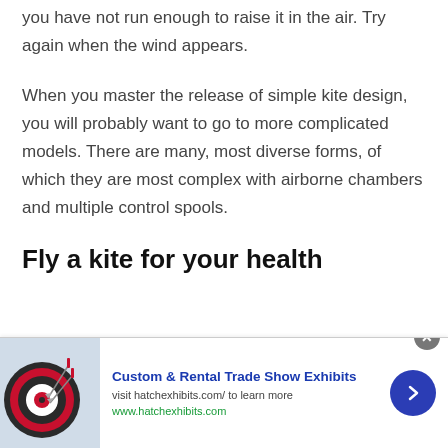you have not run enough to raise it in the air. Try again when the wind appears.
When you master the release of simple kite design, you will probably want to go to more complicated models. There are many, most diverse forms, of which they are most complex with airborne chambers and multiple control spools.
Fly a kite for your health
[Figure (photo): Advertisement banner showing a dartboard with darts, promoting Custom & Rental Trade Show Exhibits at hatchexhibits.com]